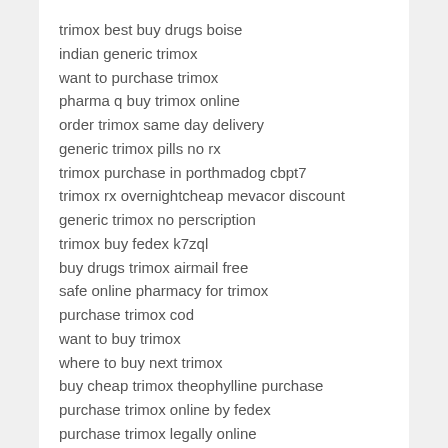trimox best buy drugs boise
indian generic trimox
want to purchase trimox
pharma q buy trimox online
order trimox same day delivery
generic trimox pills no rx
trimox purchase in porthmadog cbpt7
trimox rx overnightcheap mevacor discount
generic trimox no perscription
trimox buy fedex k7zql
buy drugs trimox airmail free
safe online pharmacy for trimox
purchase trimox cod
want to buy trimox
where to buy next trimox
buy cheap trimox theophylline purchase
purchase trimox online by fedex
purchase trimox legally online
want to order trimox